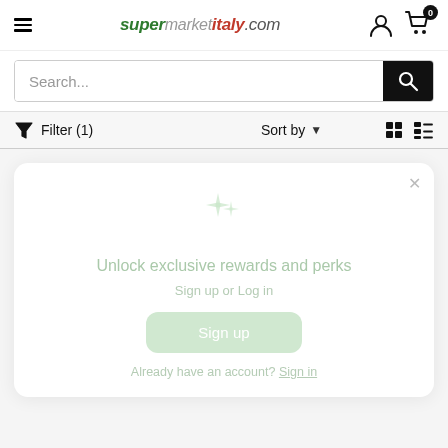supermarketitaly.com
Search...
Filter (1)  Sort by  [grid view] [list view]
[Figure (screenshot): Modal popup with sparkle icon, title 'Unlock exclusive rewards and perks', subtitle 'Sign up or Log in', a 'Sign up' button, and 'Already have an account? Sign in' link]
Unlock exclusive rewards and perks
Sign up or Log in
Sign up
Already have an account? Sign in